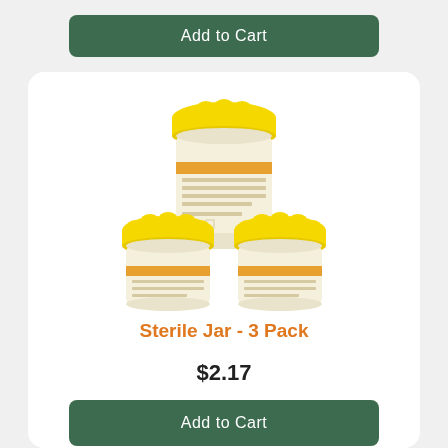Add to Cart
[Figure (photo): Three sterile specimen jars with yellow screw-top lids and white/cream labels with orange stripe, arranged in a pyramid formation (one on top, two on bottom)]
Sterile Jar - 3 Pack
$2.17
Add to Cart